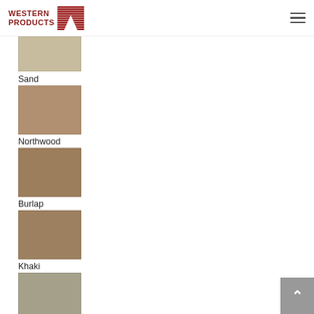WESTERN PRODUCTS
[Figure (illustration): Color swatch - light tan/beige color (unnamed, top partially visible)]
Sand
[Figure (illustration): Color swatch - Sand, medium tan color]
Northwood
[Figure (illustration): Color swatch - Northwood, warm medium brown color]
Burlap
[Figure (illustration): Color swatch - Burlap, warm brown/tan color]
Khaki
[Figure (illustration): Color swatch - Khaki, gray-tan color (partially visible at bottom)]